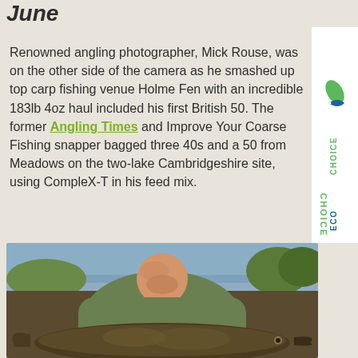June
Renowned angling photographer, Mick Rouse, was on the other side of the camera as he smashed up top carp fishing venue Holme Fen with an incredible 183lb 4oz haul included his first British 50. The former Angling Times and Improve Your Coarse Fishing snapper bagged three 40s and a 50 from Meadows on the two-lake Cambridgeshire site, using CompleX-T in his feed mix.
[Figure (photo): Man in green t-shirt smiling, holding a large carp fish, with water and trees in background]
[Figure (logo): EcoChoice logo on white sidebar, vertical orientation]